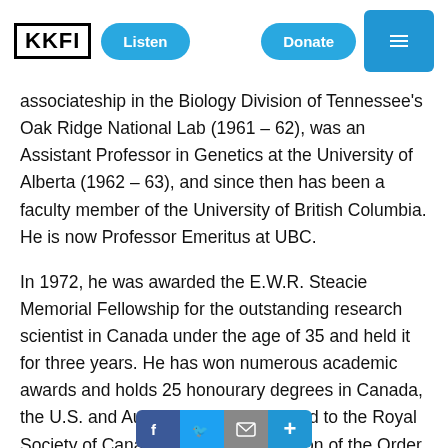KKFI | Listen | Donate
associateship in the Biology Division of Tennessee's Oak Ridge National Lab (1961 – 62), was an Assistant Professor in Genetics at the University of Alberta (1962 – 63), and since then has been a faculty member of the University of British Columbia. He is now Professor Emeritus at UBC.
In 1972, he was awarded the E.W.R. Steacie Memorial Fellowship for the outstanding research scientist in Canada under the age of 35 and held it for three years. He has won numerous academic awards and holds 25 honourary degrees in Canada, the U.S. and Australia. He was elected to the Royal Society of Canada and is a Companion of the Order of Canada. Dr. Suzuki has written 52 books, including 19 for children. His 1976 textbook An Introduction to Genetic Analysis (with